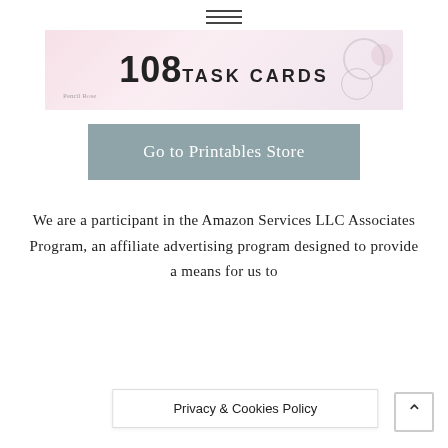≡
[Figure (illustration): Banner image showing '108 TASK CARDS' text with pink floral decorative background]
Go to Printables Store
We are a participant in the Amazon Services LLC Associates Program, an affiliate advertising program designed to provide a means for us to
Privacy & Cookies Policy